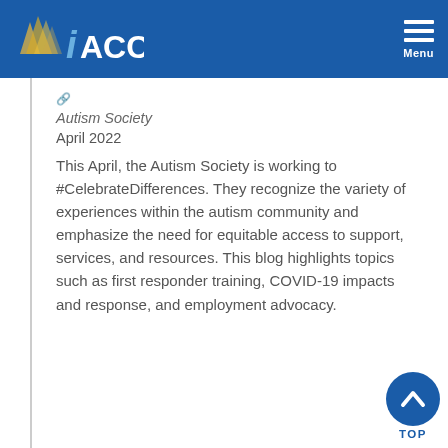IACC Menu
[Figure (logo): IACC logo with gold building graphic and blue IACC text on blue header bar]
Autism Society
April 2022
This April, the Autism Society is working to #CelebrateDifferences. They recognize the variety of experiences within the autism community and emphasize the need for equitable access to support, services, and resources. This blog highlights topics such as first responder training, COVID-19 impacts and response, and employment advocacy.